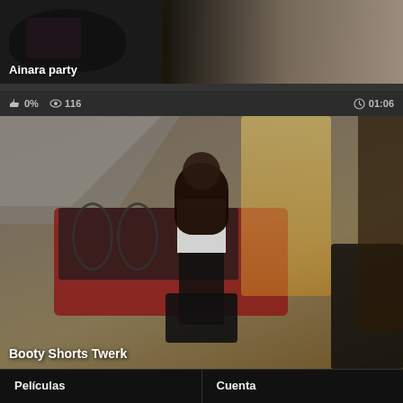[Figure (screenshot): Video thumbnail showing 'Ainara party' — top portion cropped, couch scene with pink pillow visible]
[Figure (screenshot): Video card with meta bar showing 0% likes, 116 views, 01:06 duration, and thumbnail for 'Booty Shorts Twerk' — person in bedroom with red bed]
Películas
Cuenta